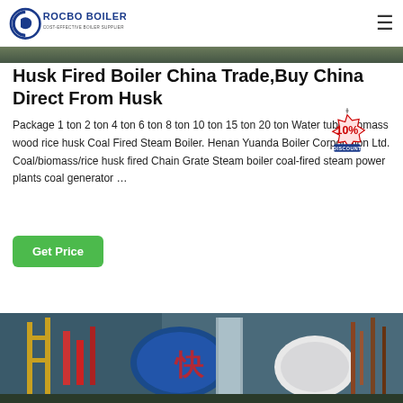ROCBO BOILER - COST-EFFECTIVE BOILER SUPPLIER
[Figure (photo): Top sliver of a boiler/industrial equipment photo, green tones]
Husk Fired Boiler China Trade,Buy China Direct From Husk
Package 1 ton 2 ton 4 ton 6 ton 8 ton 10 ton 15 ton 20 ton Water tube Biomass wood rice husk Coal Fired Steam Boiler. Henan Yuanda Boiler Corporation Ltd. Coal/biomass/rice husk fired Chain Grate Steam boiler coal-fired steam power plants coal generator …
[Figure (infographic): 10% DISCOUNT badge/stamp in red and blue]
Get Price
[Figure (photo): Industrial boiler equipment photo showing blue boiler vessels and red piping in a factory setting]